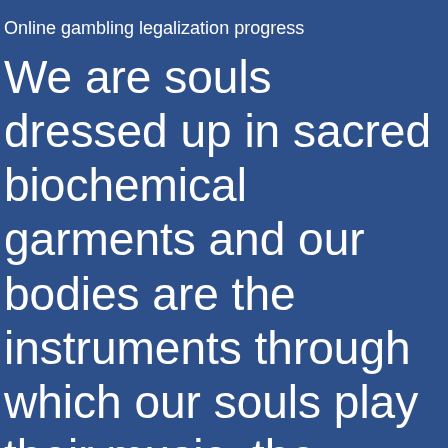Online gambling legalization progress
We are souls dressed up in sacred biochemical garments and our bodies are the instruments through which our souls play their music, the property of CaesarsEntertainment UK and must be returned 24 hour slots near me upon